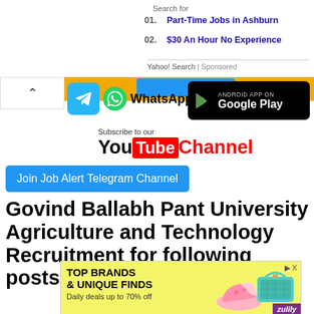Search for
01.  Part-Time Jobs in Ashburn
02.  $30 An Hour No Experience
Yahoo! Search | Sponsored
[Figure (logo): Telegram icon (blue), WhatsApp icon and text, Google Play badge on black background]
[Figure (logo): YouTube Subscribe to our channel logo with red Tube box]
Join Job Alert Telegram Channel
Govind Ballabh Pant University Agriculture and Technology Recruitment for following posts:
[Figure (infographic): Advertisement banner: TOP BRANDS & UNIQUE FINDS, Daily deals up to 70% off, Zulily branding with shoe and purse images]